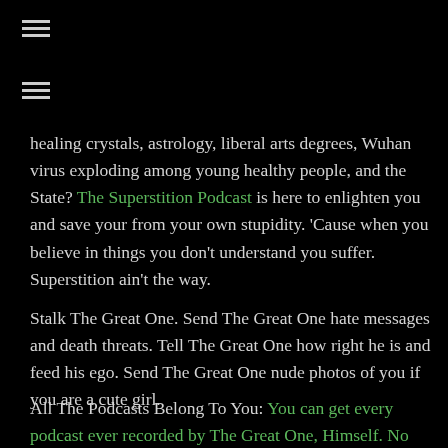[Figure (other): Hamburger menu icon (three horizontal lines) at top left]
[Figure (other): Hamburger menu icon (three horizontal lines) below the first]
healing crystals, astrology, liberal arts degrees, Wuhan virus exploding among young healthy people, and the State? The Superstition Podcast is here to enlighten you and save your from your own stupidity. ‘Cause when you believe in things you don’t understand you suffer. Superstition ain’t the way.
Stalk The Great One. Send The Great One hate messages and death threats. Tell The Great One how right he is and feed his ego. Send The Great One nude photos of you if you are a cute girl.
All The Podcasts Belong To You: You can get every podcast ever recorded by The Great One, Himself. No bullshit. For one low d...